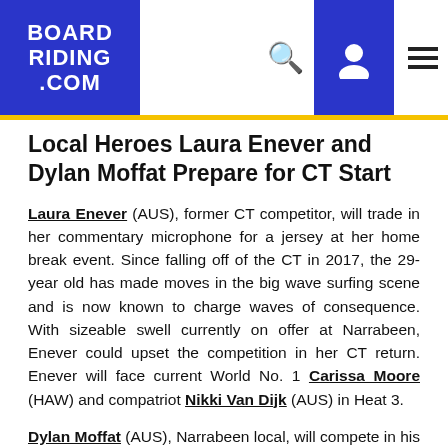BOARDRIDING.COM
Local Heroes Laura Enever and Dylan Moffat Prepare for CT Start
Laura Enever (AUS), former CT competitor, will trade in her commentary microphone for a jersey at her home break event. Since falling off of the CT in 2017, the 29-year old has made moves in the big wave surfing scene and is now known to charge waves of consequence. With sizeable swell currently on offer at Narrabeen, Enever could upset the competition in her CT return. Enever will face current World No. 1 Carissa Moore (HAW) and compatriot Nikki Van Dijk (AUS) in Heat 3.
Dylan Moffat (AUS), Narrabeen local, will compete in his first CT event with the support of his home crowd. Moffat was awarded his wildcard spot through the North Narrabeen Boardriders Club as he is the highest-rated QS competitor in the club. The young Australian will face